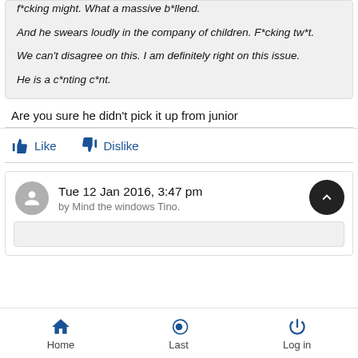f*cking might.  What a massive b*llend.
And he swears loudly in the company of children.  F*cking tw*t.
We can't disagree on this.  I am definitely right on this issue.
He is a c*nting c*nt.
Are you sure he didn't pick it up from junior
Like   Dislike
Tue 12 Jan 2016, 3:47 pm
by Mind the windows Tino.
Home   Last   Log in